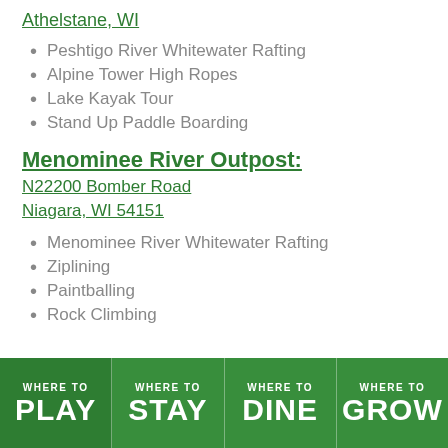Athelstane, WI
Peshtigo River Whitewater Rafting
Alpine Tower High Ropes
Lake Kayak Tour
Stand Up Paddle Boarding
Menominee River Outpost:
N22200 Bomber Road
Niagara, WI 54151
Menominee River Whitewater Rafting
Ziplining
Paintballing
Rock Climbing
WHERE TO PLAY | WHERE TO STAY | WHERE TO DINE | WHERE TO GROW